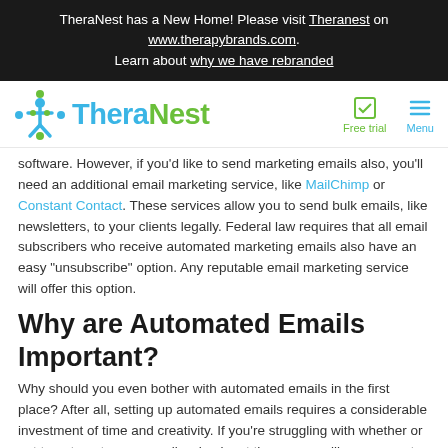TheraNest has a New Home! Please visit Theranest on www.therapybrands.com. Learn about why we have rebranded
[Figure (logo): TheraNest logo with icon and text]
software. However, if you'd like to send marketing emails also, you'll need an additional email marketing service, like MailChimp or Constant Contact. These services allow you to send bulk emails, like newsletters, to your clients legally. Federal law requires that all email subscribers who receive automated marketing emails also have an easy "unsubscribe" option. Any reputable email marketing service will offer this option.
Why are Automated Emails Important?
Why should you even bother with automated emails in the first place? After all, setting up automated emails requires a considerable investment of time and creativity. If you're struggling with whether or not to automate your emails, check out these compelling reasons to do so:
Automated emails keep your clients